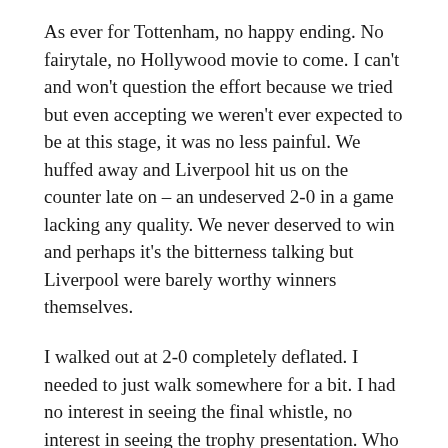As ever for Tottenham, no happy ending. No fairytale, no Hollywood movie to come. I can't and won't question the effort because we tried but even accepting we weren't ever expected to be at this stage, it was no less painful. We huffed away and Liverpool hit us on the counter late on – an undeserved 2-0 in a game lacking any quality. We never deserved to win and perhaps it's the bitterness talking but Liverpool were barely worthy winners themselves.
I walked out at 2-0 completely deflated. I needed to just walk somewhere for a bit. I had no interest in seeing the final whistle, no interest in seeing the trophy presentation. Who fucking cares?
We didn't have accommodation for Saturday night. I think we'd made the decision to just find some kip in the car later on and then head out Sunday